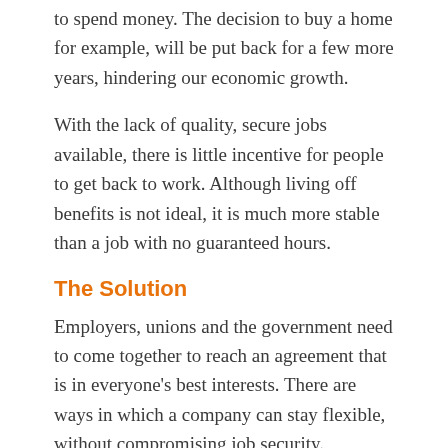to spend money. The decision to buy a home for example, will be put back for a few more years, hindering our economic growth.
With the lack of quality, secure jobs available, there is little incentive for people to get back to work. Although living off benefits is not ideal, it is much more stable than a job with no guaranteed hours.
The Solution
Employers, unions and the government need to come together to reach an agreement that is in everyone's best interests. There are ways in which a company can stay flexible, without compromising job security.
Flexible hours contracts allow employers tailor their rotas to meet varying demand, while at the same time offering their staff a guaranteed income. For smaller businesses, or those affected by seasonal changes, this